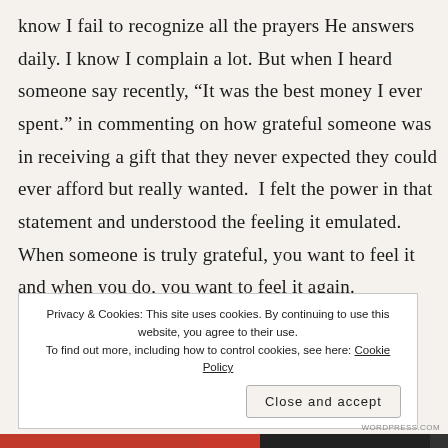know I fail to recognize all the prayers He answers daily. I know I complain a lot. But when I heard someone say recently, “It was the best money I ever spent.” in commenting on how grateful someone was in receiving a gift that they never expected they could ever afford but really wanted.  I felt the power in that statement and understood the feeling it emulated. When someone is truly grateful, you want to feel it and when you do, you want to feel it again.
Privacy & Cookies: This site uses cookies. By continuing to use this website, you agree to their use.
To find out more, including how to control cookies, see here: Cookie Policy